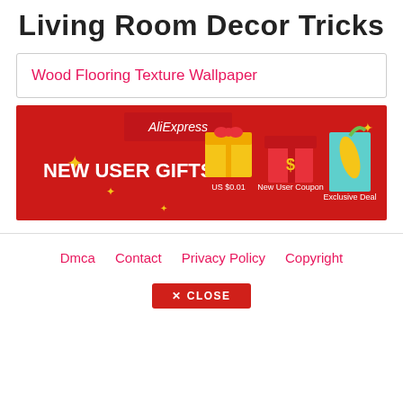Living Room Decor Tricks
Wood Flooring Texture Wallpaper
[Figure (screenshot): AliExpress advertisement banner with red background showing 'NEW USER GIFTS' text and gift icons for US $0.01, New User Coupon, and Exclusive Deal]
Dmca   Contact   Privacy Policy   Copyright
✕ CLOSE